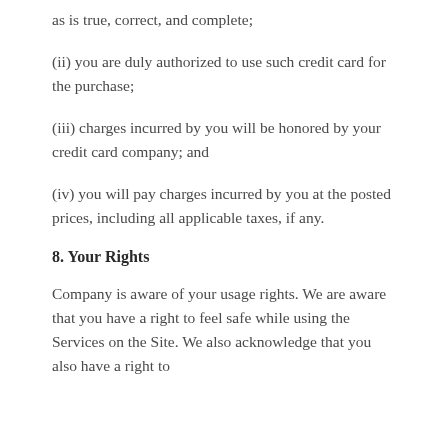as is true, correct, and complete;
(ii) you are duly authorized to use such credit card for the purchase;
(iii) charges incurred by you will be honored by your credit card company; and
(iv) you will pay charges incurred by you at the posted prices, including all applicable taxes, if any.
8. Your Rights
Company is aware of your usage rights. We are aware that you have a right to feel safe while using the Services on the Site. We also acknowledge that you also have a right to